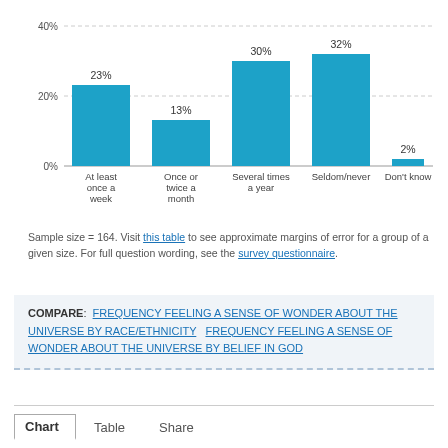[Figure (bar-chart): ]
Sample size = 164. Visit this table to see approximate margins of error for a group of a given size. For full question wording, see the survey questionnaire.
COMPARE: FREQUENCY FEELING A SENSE OF WONDER ABOUT THE UNIVERSE BY RACE/ETHNICITY  FREQUENCY FEELING A SENSE OF WONDER ABOUT THE UNIVERSE BY BELIEF IN GOD
Chart  Table  Share